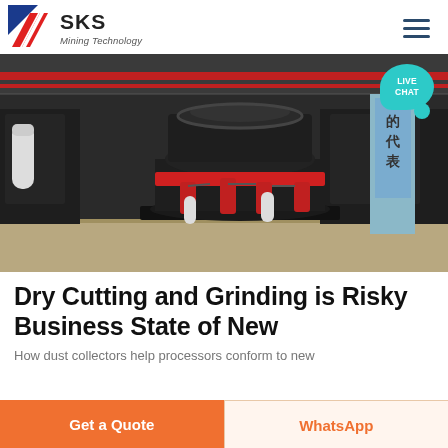SKS Mining Technology
[Figure (photo): Industrial cone crusher machine in a manufacturing facility. Large black heavy equipment with red accents and hydraulic components, sitting on a concrete factory floor with steel structures and overhead cranes in the background. A Chinese signboard is visible on the right. A teal 'LIVE CHAT' speech bubble badge is overlaid in the top-right corner.]
Dry Cutting and Grinding is Risky Business State of New
How dust collectors help processors conform to new
Get a Quote
WhatsApp